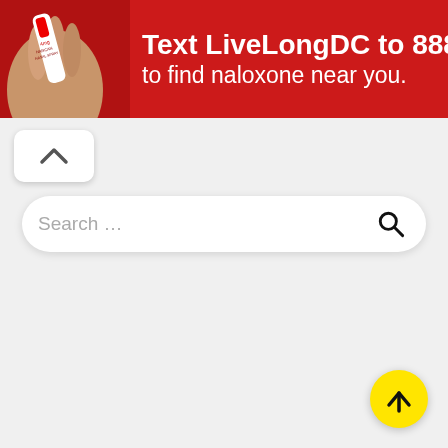[Figure (infographic): Red banner advertisement: shows a hand holding a nasal naloxone device on the left, with white bold text 'Text LiveLongDC to 888-811 to find naloxone near you.' DC government and DBH logos on the right, with a small 'Ad' badge.]
[Figure (screenshot): White rounded rectangle button with a dark upward chevron (^) arrow, indicating a collapse or scroll-up toggle.]
[Figure (screenshot): White rounded search bar with grey placeholder text 'Search ...' and a dark magnifying glass search icon on the right.]
[Figure (screenshot): Yellow circular scroll-to-top floating action button with a black upward arrow in the bottom right corner.]